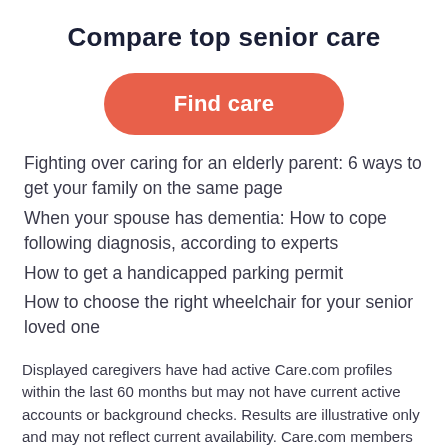Compare top senior care
[Figure (other): Orange rounded button labeled 'Find care']
Fighting over caring for an elderly parent: 6 ways to get your family on the same page
When your spouse has dementia: How to cope following diagnosis, according to experts
How to get a handicapped parking permit
How to choose the right wheelchair for your senior loved one
Displayed caregivers have had active Care.com profiles within the last 60 months but may not have current active accounts or background checks. Results are illustrative only and may not reflect current availability. Care.com members have access to active, background checked providers.